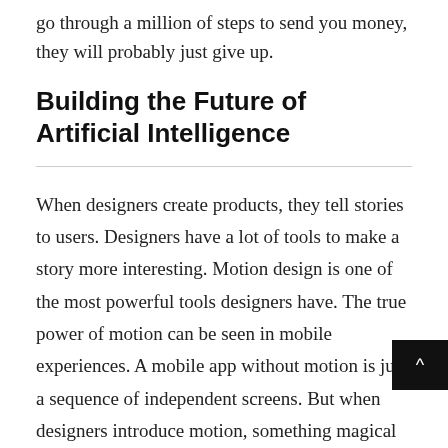go through a million of steps to send you money, they will probably just give up.
Building the Future of Artificial Intelligence
When designers create products, they tell stories to users. Designers have a lot of tools to make a story more interesting. Motion design is one of the most powerful tools designers have. The true power of motion can be seen in mobile experiences. A mobile app without motion is just a sequence of independent screens. But when designers introduce motion, something magical happens – a design comes alive – an app becomes an interactive story that can engage users.